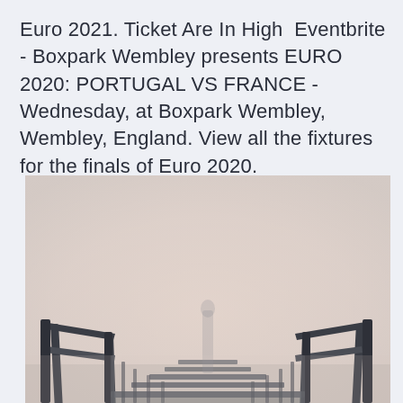Euro 2021. Ticket Are In High  Eventbrite - Boxpark Wembley presents EURO 2020: PORTUGAL VS FRANCE - Wednesday, at Boxpark Wembley, Wembley, England. View all the fixtures for the finals of Euro 2020.
[Figure (photo): A misty, foggy outdoor scene showing a wooden staircase/bridge with railings descending into fog. The background is a pale pinkish-beige haze. Two sets of dark wooden handrails flank a stairway leading downward into the mist, with barely visible silhouette of a person or post in the center.]